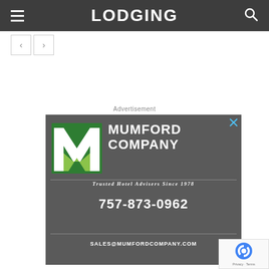LODGING
< >
Advertisement
[Figure (logo): Mumford Company advertisement with dark gray background. Shows Mumford Company logo (green and white M letter mark), company name 'MUMFORD COMPANY', tagline 'Trusted Hotel Advisers Since 1978', phone '757-873-0962', and email 'SALES@MUMFORDCOMPANY.COM']